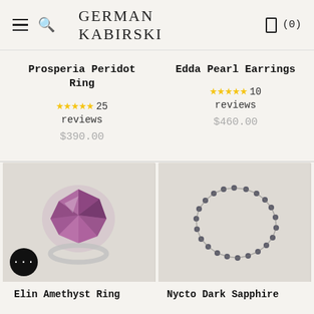GERMAN KABIRSKI
Prosperia Peridot Ring
★★★★★ 25 reviews
$390.00
Edda Pearl Earrings
★★★★★ 10 reviews
$460.00
[Figure (photo): Elin Amethyst Ring - a large rough purple amethyst stone set in a silver ring band]
[Figure (photo): Nycto Dark Sapphire - a delicate chain bracelet with small dark sapphire stones]
Elin Amethyst Ring
Nycto Dark Sapphire